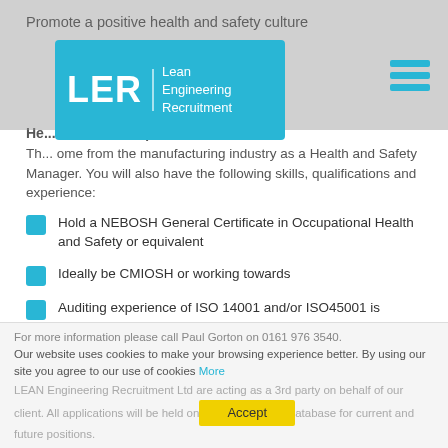Promote a positive health and safety culture
[Figure (logo): LER Lean Engineering Recruitment logo — cyan/blue rounded rectangle with white text]
He... - Person Requirements:
Th... ome from the manufacturing industry as a Health and Safety Manager. You will also have the following skills, qualifications and experience:
Hold a NEBOSH General Certificate in Occupational Health and Safety or equivalent
Ideally be CMIOSH or working towards
Auditing experience of ISO 14001 and/or ISO45001 is desirable but not essential
Ideally come from a CNC / Precision machining background in health and safety
For more information please call Paul Gorton on 0161 976 3540. Our website uses cookies to make your browsing experience better. By using our site you agree to our use of cookies More LEAN Engineering Recruitment Ltd are acting as a 3rd party on behalf of our client. All applications will be held on our database for current and future positions.